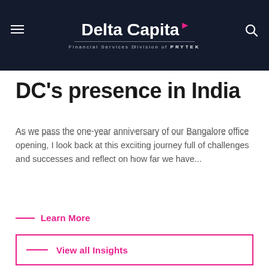Delta Capita – Financial Services Division of PRYTEK
DC's presence in India
As we pass the one-year anniversary of our Bangalore office opening, I look back at this exciting journey full of challenges and successes and reflect on how far we have...
Learn More
View all Insights